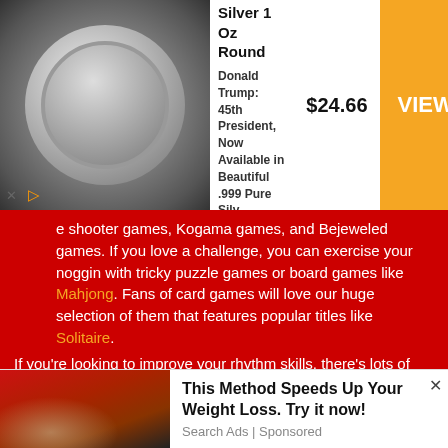[Figure (screenshot): Advertisement banner: silver coin with Trump portrait, title 'President Trump - .999 Pure Silver 1 Oz Round', price $24.66, orange VIEW > button]
shooter games, Kogama games, and Bejeweled games. If you love a challenge, you can exercise your noggin with tricky puzzle games or board games like Mahjong. Fans of card games will love our huge selection of them that features popular titles like Solitaire. If you're looking to improve your rhythm skills, there's lots of music games you can play like Piano Tiles. Our 2 player games are also fantastic if you'd like to challenge a friend in a basketball game or an awesome fighting game. You can play games in any of our gaming categories, which include: multiplayer games, io games, motorcycle games, math games, and so much more! Since we've got one of the world's largest collections of free games online, you'll always find the best ones to play alone or with your friends and family at GamesSupo. So whenever you want to dive into
[Figure (screenshot): Advertisement banner at bottom: image of person pouring drink, text 'This Method Speeds Up Your Weight Loss. Try it now!', source 'Search Ads | Sponsored']